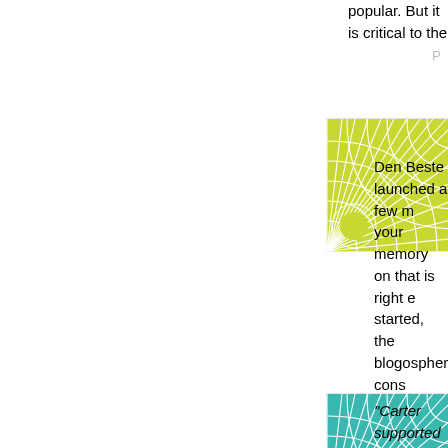popular. But it is critical to the...
P...
[Figure (illustration): Square avatar image with yellow-green geometric sunburst/fan pattern on white background]
Den Beste launched a few m... your memory on that is right e... started, the blogosphere cons... know them today) except for ... quite as partisan at the time a... Ted Barlow. The rest were: In... Damian Penny, Matt Welch (... hard to categorize really). Ke... supported the war and attack... Brian Carnell, Spinsanity, Jua... Shouting 'Cross the Potomac... Boortz, Tim Blair, Lileks, Med... Jarvis, Havrilesky, Listen Mis... Bjorn, Asparagil, Hawkgirl, G... Pejman and myself.)
[Figure (illustration): Square avatar image with teal/cyan geometric sunburst/fan pattern on white background]
"Carter supported the invasio... combat terrorism."